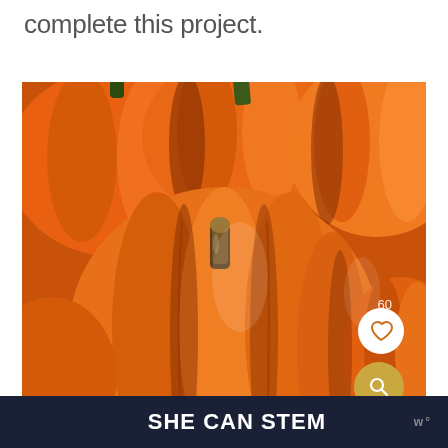complete this project.
[Figure (photo): Close-up photograph of multiple orange pumpkins clustered together, with prominent stems visible. A white circular heart/favorite button and a gold circular search button appear in the lower-right corner of the image, along with a small number '60'.]
SHE CAN STEM